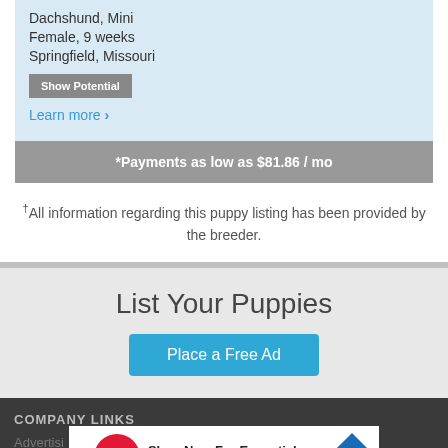Dachshund, Mini
Female, 9 weeks
Springfield, Missouri
Show Potential
Learn more ›
*Payments as low as $81.86 / mo
†All information regarding this puppy listing has been provided by the breeder.
List Your Puppies
Place a Free Ad
COMPANY LINKS
Advertising
[Figure (screenshot): Walgreens Photo advertisement banner: Shop Now For Essentials, Walgreens Photo]